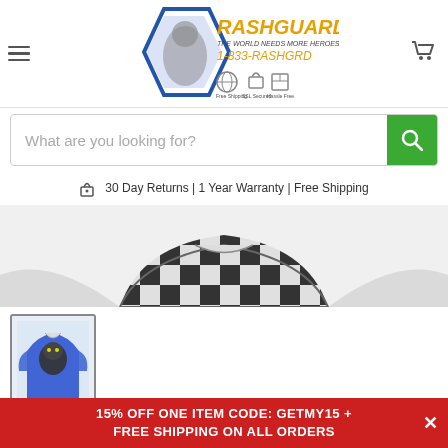RashGuardStore — The World Needs More Heroes — 1-833-RASHGRD
[Figure (screenshot): Search bar with placeholder text 'What are you looking for?' and green search button]
30 Day Returns | 1 Year Warranty | Free Shipping
[Figure (photo): Partial view of a chess-patterned rash guard shirt, black and white]
[Figure (photo): Thumbnail of Gorilla Compression Chess Elite Long Sleeve Rashguard — blue and black design with gorilla graphic]
Gorilla Compression 'Chess' Elite Long Sleeve Rashguard
15% OFF ONE ITEM CODE: GETMY15 + FREE SHIPPING ON ALL ORDERS